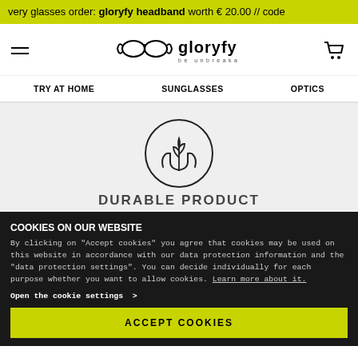very glasses order: gloryfy headband worth € 20.00 // code
[Figure (logo): Gloryfy logo with goggles icon and 'be unbreakable' tagline]
TRY AT HOME   SUNGLASSES   OPTICS
[Figure (illustration): Circle icon with hands holding a plant/leaf — durable product symbol]
DURABLE PRODUCT
COOKIES ON OUR WEBSITE
By clicking on "Accept cookies" you agree that cookies may be used on this website in accordance with our data protection information and the "data protection settings". You can decide individually for each purpose whether you want to allow cookies. Learn more about it.
Open the cookie settings  >
ACCEPT COOKIES